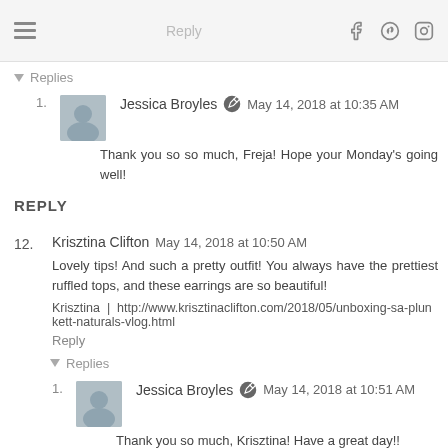Reply | [icons: facebook, pinterest, instagram]
▾ Replies
1. Jessica Broyles — May 14, 2018 at 10:35 AM
Thank you so so much, Freja! Hope your Monday's going well!
REPLY
12. Krisztina Clifton — May 14, 2018 at 10:50 AM
Lovely tips! And such a pretty outfit! You always have the prettiest ruffled tops, and these earrings are so beautiful!
Krisztina  |  http://www.krisztinaclifton.com/2018/05/unboxing-sa-plunkett-naturals-vlog.html
Reply
▾ Replies
1. Jessica Broyles — May 14, 2018 at 10:51 AM
Thank you so much, Krisztina! Have a great day!!
REPLY